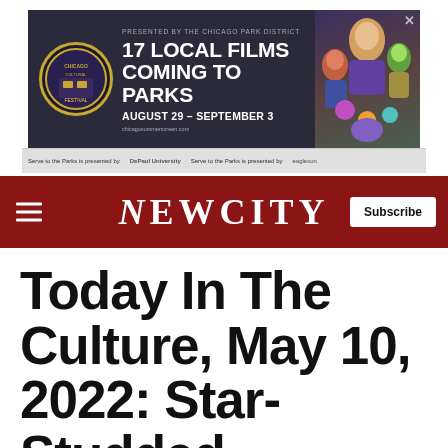[Figure (photo): Advertisement banner for Chicago Park District: '17 Local Films Coming To Parks, August 29 - September 3' with illustrated characters and a circular logo on the left.]
NEWCITY
Today In The Culture, May 10, 2022: Star-Studded Advisors